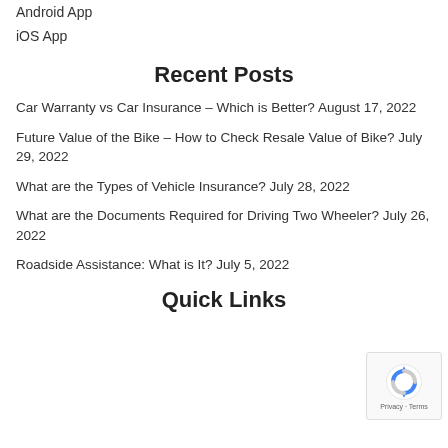Android App
iOS App
Recent Posts
Car Warranty vs Car Insurance – Which is Better? August 17, 2022
Future Value of the Bike – How to Check Resale Value of Bike? July 29, 2022
What are the Types of Vehicle Insurance? July 28, 2022
What are the Documents Required for Driving Two Wheeler? July 26, 2022
Roadside Assistance: What is It? July 5, 2022
Quick Links
[Figure (other): reCAPTCHA badge with Privacy and Terms links]